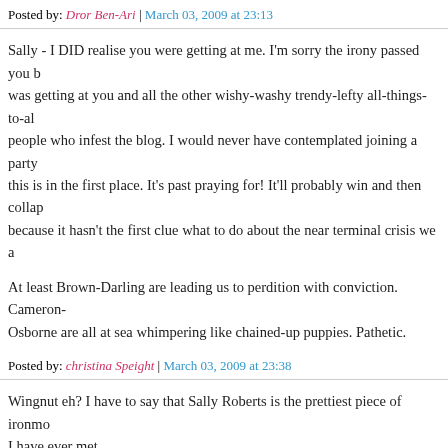Posted by: Dror Ben-Ari | March 03, 2009 at 23:13
Sally - I DID realise you were getting at me. I'm sorry the irony passed you by. I was getting at you and all the other wishy-washy trendy-lefty all-things-to-all people who infest the blog. I would never have contemplated joining a party this is in the first place. It's past praying for! It'll probably win and then collapse because it hasn't the first clue what to do about the near terminal crisis we a…
At least Brown-Darling are leading us to perdition with conviction. Cameron-Osborne are all at sea whimpering like chained-up puppies. Pathetic.
Posted by: christina Speight | March 03, 2009 at 23:38
Wingnut eh? I have to say that Sally Roberts is the prettiest piece of ironmo… I have ever met.
Now as I am her mirror image, very right-wing socially and a bit authoritaria… moderately Keynesian in economic matters, what is the description for my t… Tory?
Also if David Cameron fits the same the template why do I prefer David Dav…